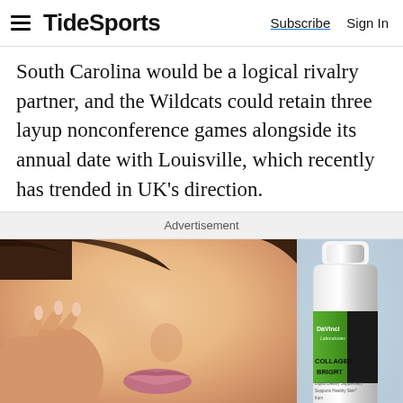TideSports  Subscribe  Sign In
South Carolina would be a logical rivalry partner, and the Wildcats could retain three layup nonconference games alongside its annual date with Louisville, which recently has trended in UK’s direction.
Advertisement
[Figure (photo): Advertisement photo showing a woman's face with glowing skin touching her cheek, alongside a DaVinci Laboratories COLLAGEN BRIGHT product bottle on a blue background.]